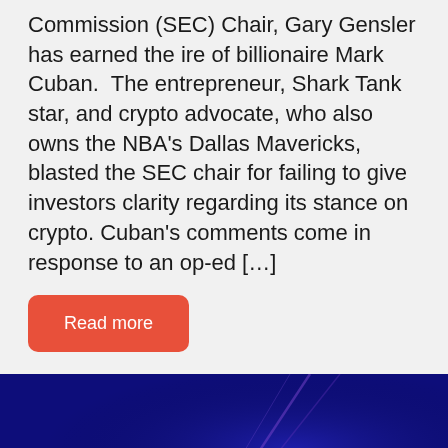Commission (SEC) Chair, Gary Gensler has earned the ire of billionaire Mark Cuban. The entrepreneur, Shark Tank star, and crypto advocate, who also owns the NBA's Dallas Mavericks, blasted the SEC chair for failing to give investors clarity regarding its stance on crypto. Cuban's comments come in response to an op-ed […]
Read more
[Figure (photo): Dark blue abstract background with purple/violet light streaks or rays, and a row of dark blue rectangular blocks along the bottom edge.]